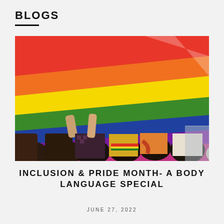BLOGS
[Figure (photo): People holding up a large rainbow pride flag above their heads at an outdoor pride event. The flag shows vivid red, orange, yellow, green, blue, and purple stripes. Multiple people in colorful clothing are seen from behind, arms raised supporting the flag.]
INCLUSION & PRIDE MONTH- A BODY LANGUAGE SPECIAL
JUNE 27, 2022